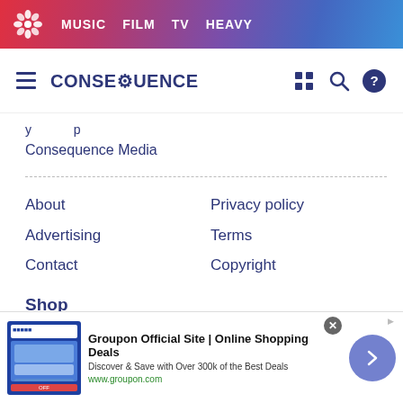MUSIC  FILM  TV  HEAVY
[Figure (screenshot): Consequence website header with logo, hamburger menu, and icons]
Consequence Media
About
Privacy policy
Advertising
Terms
Contact
Copyright
Shop
Face Masks
T Shirts
[Figure (screenshot): Groupon advertisement banner: Groupon Official Site | Online Shopping Deals. Discover & Save with Over 300k of the Best Deals. www.groupon.com]